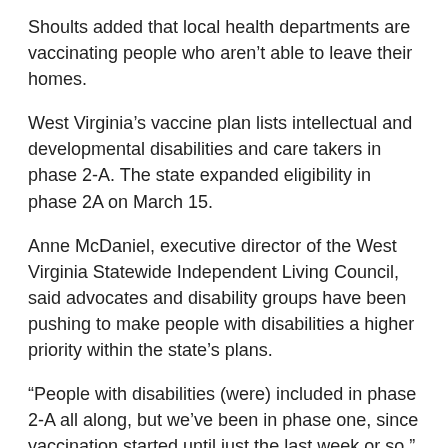Shoults added that local health departments are vaccinating people who aren't able to leave their homes.
West Virginia's vaccine plan lists intellectual and developmental disabilities and care takers in phase 2-A. The state expanded eligibility in phase 2A on March 15.
Anne McDaniel, executive director of the West Virginia Statewide Independent Living Council, said advocates and disability groups have been pushing to make people with disabilities a higher priority within the state's plans.
“People with disabilities (were) included in phase 2-A all along, but we’ve been in phase one, since vaccination started until just the last week or so,"